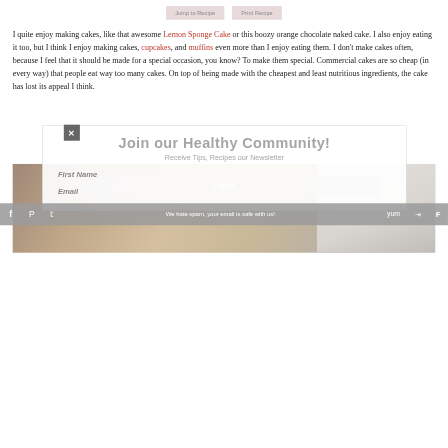Jump to Recipe
Print Recipe
I quite enjoy making cakes, like that awesome Lemon Sponge Cake or this boozy orange chocolate naked cake. I also enjoy eating it too, but I think I enjoy making cakes, cupcakes, and muffins even more than I enjoy eating them. I don't make cakes often, because I feel that it should be made for a special occasion, you know? To make them special. Commercial cakes are so cheap (in every way) that people eat way too many cakes. On top of being made with the cheapest and least nutritious ingredients, the cake has lost its appeal I think.
[Figure (screenshot): Newsletter signup popup overlay with title 'Join our Healthy Community!', subtitle 'Receive Tips, Recipes our Newsletter', First Name and Email fields, and JOIN button. Partially overlaid on the article text.]
[Figure (photo): Food photo showing a cake or dish on a wooden plate with a fork on white plate visible at right edge, partially covered by popup overlay.]
We hate spam, your email is safe with us!